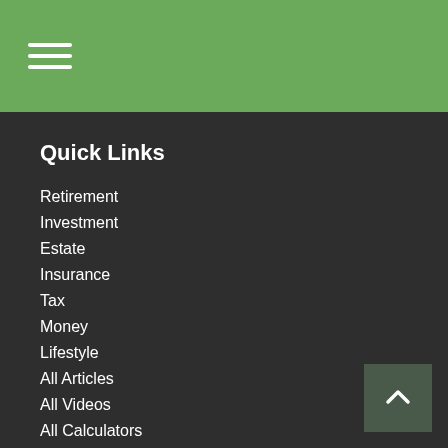Quick Links
Retirement
Investment
Estate
Insurance
Tax
Money
Lifestyle
All Articles
All Videos
All Calculators
All Presentations